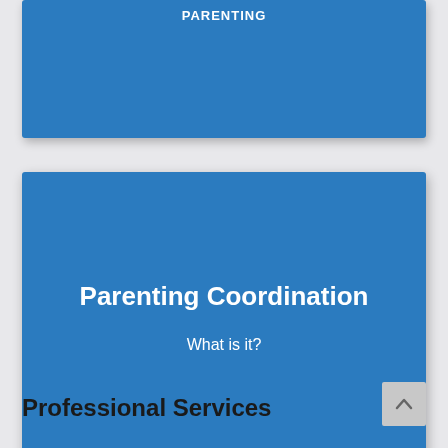[Figure (screenshot): Partial top blue card/slide with white bold text partially visible at the top of the page]
Parenting Coordination
What is it?
Professional Services